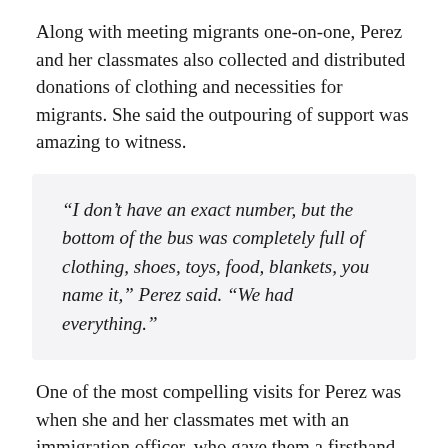Along with meeting migrants one-on-one, Perez and her classmates also collected and distributed donations of clothing and necessities for migrants. She said the outpouring of support was amazing to witness.
“I don’t have an exact number, but the bottom of the bus was completely full of clothing, shoes, toys, food, blankets, you name it,” Perez said. “We had everything.”
One of the most compelling visits for Perez was when she and her classmates met with an immigration officer, who gave them a firsthand account of their profession.